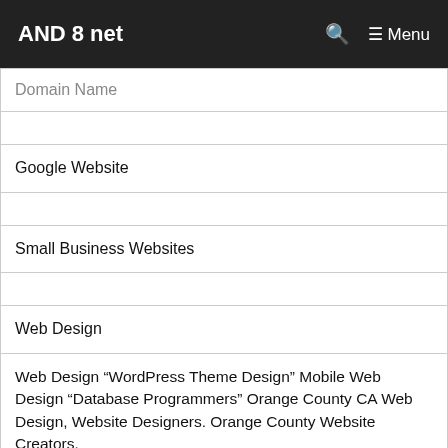AND 8 net  🔍  ☰ Menu
| Domain Name |
|  |
| Google Website |
|  |
| Small Business Websites |
|  |
| Web Design |
| Web Design “WordPress Theme Design” Mobile Web Design “Database Programmers” Orange County CA Web Design, Website Designers. Orange County Website Creators. |
| Web Design Company |